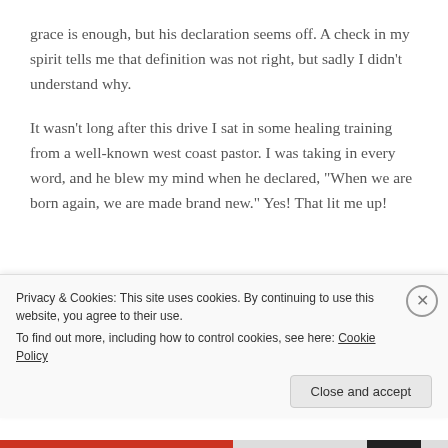grace is enough, but his declaration seems off. A check in my spirit tells me that definition was not right, but sadly I didn't understand why.
It wasn't long after this drive I sat in some healing training from a well-known west coast pastor. I was taking in every word, and he blew my mind when he declared, "When we are born again, we are made brand new." Yes! That lit me up!
He continued comparing believers to top-of-the-line McLaren bikes proclaiming "we are not re-furbished...
Privacy & Cookies: This site uses cookies. By continuing to use this website, you agree to their use.
To find out more, including how to control cookies, see here: Cookie Policy